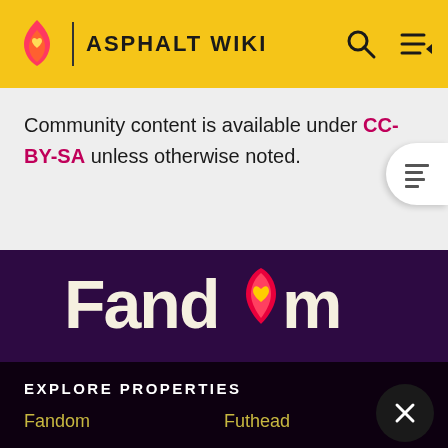ASPHALT WIKI
Community content is available under CC-BY-SA unless otherwise noted.
[Figure (logo): Fandom logo with flame icon and heart, cream text on dark purple background]
EXPLORE PROPERTIES
Fandom
Futhead
Cortex RPG
Fanatical
Muthead